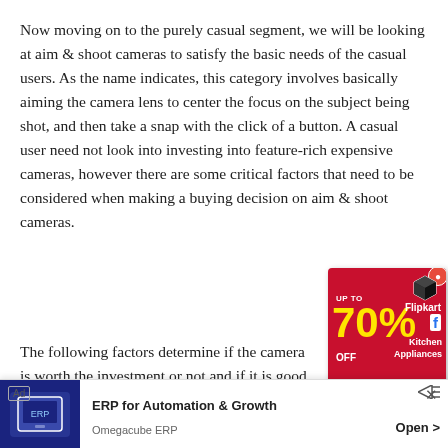Now moving on to the purely casual segment, we will be looking at aim & shoot cameras to satisfy the basic needs of the casual users. As the name indicates, this category involves basically aiming the camera lens to center the focus on the subject being shot, and then take a snap with the click of a button. A casual user need not look into investing into feature-rich expensive cameras, however there are some critical factors that need to be considered when making a buying decision on aim & shoot cameras.
The following factors determine if the camera is worth the investment or not and if it is good or bad:
1)Digital...
2)Len...
[Figure (illustration): Flipkart advertisement: red box with cube icon, 'UP TO 70% OFF' in yellow, 'Flipkart Kitchen Appliances' text]
[Figure (illustration): Bottom banner ad for 'ERP for Automation & Growth' by Omegacube ERP, with tablet image on dark blue background, Open button]